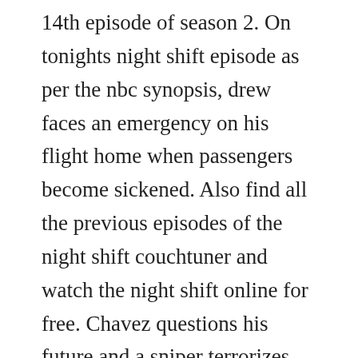14th episode of season 2. On tonights night shift episode as per the nbc synopsis, drew faces an emergency on his flight home when passengers become sickened. Also find all the previous episodes of the night shift couchtuner and watch the night shift online for free. Chavez questions his future and a sniper terrorizes san antonio on the season finale.
Earlier today, executive producer gabe sachs tweeted, the night shift has just been picked up for season 2. Watch the night shift